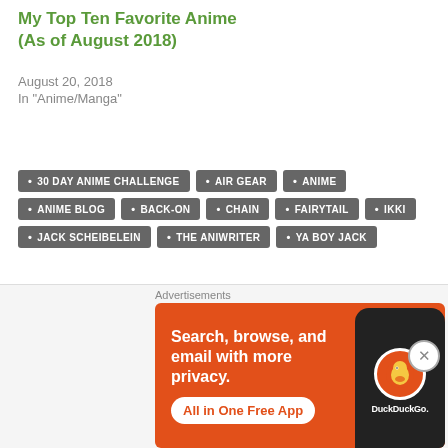My Top Ten Favorite Anime (As of August 2018)
August 20, 2018
In "Anime/Manga"
30 DAY ANIME CHALLENGE
AIR GEAR
ANIME
ANIME BLOG
BACK-ON
CHAIN
FAIRYTAIL
IKKI
JACK SCHEIBELEIN
THE ANIWRITER
YA BOY JACK
PREVIOUS POST
30 Day Anime Challenge – Day 26: The Best Fight
Advertisements
[Figure (other): DuckDuckGo advertisement banner: Search, browse, and email with more privacy. All in One Free App. Shows DuckDuckGo logo on a phone against orange background.]